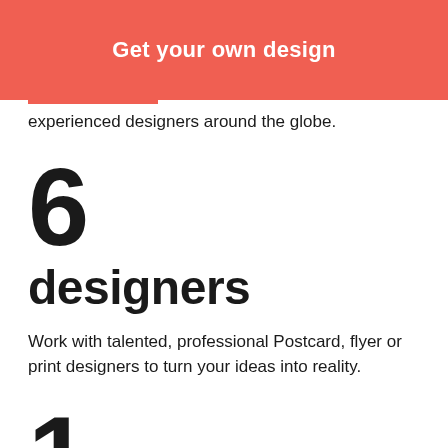[Figure (other): Red/coral button with white bold text 'Get your own design']
experienced designers around the globe.
6
designers
Work with talented, professional Postcard, flyer or print designers to turn your ideas into reality.
1